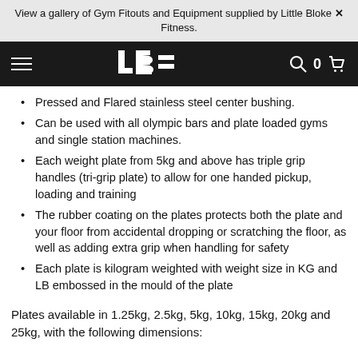View a gallery of Gym Fitouts and Equipment supplied by Little Bloke X Fitness.
[Figure (logo): Little Bloke Fitness (LBF) logo on dark navigation bar with hamburger menu, search icon, cart count 0, and cart icon]
Pressed and Flared stainless steel center bushing.
Can be used with all olympic bars and plate loaded gyms and single station machines.
Each weight plate from 5kg and above has triple grip handles (tri-grip plate) to allow for one handed pickup, loading and training
The rubber coating on the plates protects both the plate and your floor from accidental dropping or scratching the floor, as well as adding extra grip when handling for safety
Each plate is kilogram weighted with weight size in KG and LB embossed in the mould of the plate
Plates available in 1.25kg, 2.5kg, 5kg, 10kg, 15kg, 20kg and 25kg, with the following dimensions: